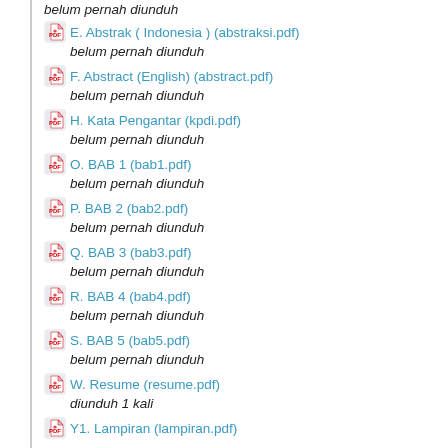belum pernah diunduh
E. Abstrak ( Indonesia ) (abstraksi.pdf)
belum pernah diunduh
F. Abstract (English) (abstract.pdf)
belum pernah diunduh
H. Kata Pengantar (kpdi.pdf)
belum pernah diunduh
O. BAB 1 (bab1.pdf)
belum pernah diunduh
P. BAB 2 (bab2.pdf)
belum pernah diunduh
Q. BAB 3 (bab3.pdf)
belum pernah diunduh
R. BAB 4 (bab4.pdf)
belum pernah diunduh
S. BAB 5 (bab5.pdf)
belum pernah diunduh
W. Resume (resume.pdf)
diunduh 1 kali
Y1. Lampiran (lampiran.pdf)